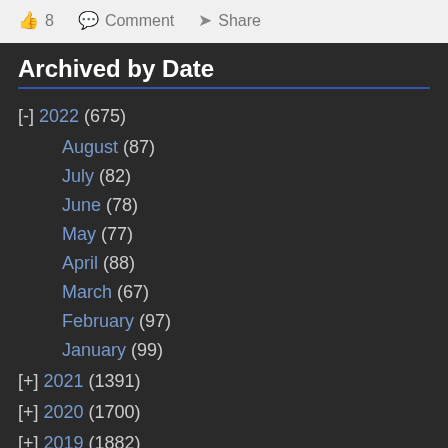👍 8   💬 Comment   ➤ Share
Archived by Date
[-] 2022 (675)
August (87)
July (82)
June (78)
May (77)
April (88)
March (67)
February (97)
January (99)
[+] 2021 (1391)
[+] 2020 (1700)
[+] 2019 (1882)
[+] 2018 (1810)